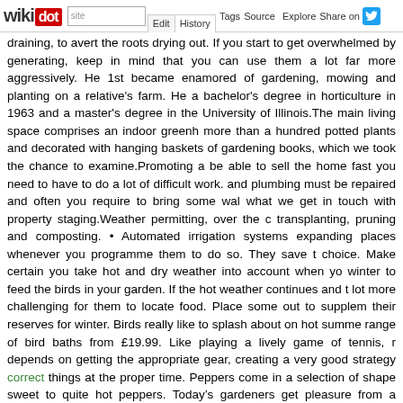wikidot | site | Edit | History | Tags | Source | Explore | Share on [Twitter]
draining, to avert the roots drying out. If you start to get overwhelmed by generating, keep in mind that you can use them a lot far more aggressively. He 1st became enamored of gardening, mowing and planting on a relative's farm. He a bachelor's degree in horticulture in 1963 and a master's degree in the University of Illinois.The main living space comprises an indoor greenhouse more than a hundred potted plants and decorated with hanging baskets of gardening books, which we took the chance to examine.Promoting a be able to sell the home fast you need to have to do a lot of difficult work. and plumbing must be repaired and often you require to bring some what we get in touch with property staging.Weather permitting, over the c transplanting, pruning and composting. • Automated irrigation systems expanding places whenever you programme them to do so. They save t choice. Make certain you take hot and dry weather into account when yo winter to feed the birds in your garden. If the hot weather continues and t lot more challenging for them to locate food. Place some out to supplem their reserves for winter. Birds really like to splash about on hot summe range of bird baths from £19.99. Like playing a lively game of tennis, r depends on getting the appropriate gear, creating a very good strategy correct things at the proper time. Peppers come in a selection of shape sweet to quite hot peppers. Today's gardeners get pleasure from a massi bell peppers by far being the most popular decision. Peppers can be sow outcomes we recommend beginning pepper seeds indoors, eight to ten date for your location. Pepper seeds are difficult seed to germinate and s way to improve seed germination is to supply a bottom heat to your s greater and quicker seed germination. When transplanting your pepper rows. Pick a see this here place that receives full sun an add plenty of fe but not wet.Nothing at all is much more pleasing on the eye than a prope are the people who will be gardening. If you have a huge senior pop raised beds that 24" to 30" tall so they will not have to bend as far. A stan